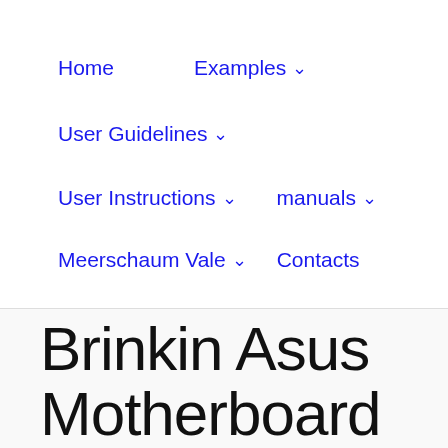Home   Examples ∨   User Guidelines ∨   User Instructions ∨   manuals ∨   Meerschaum Vale ∨   Contacts
Brinkin Asus Motherboard